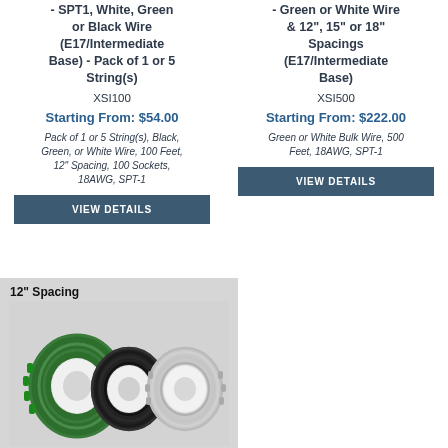- SPT1, White, Green or Black Wire (E17/Intermediate Base) - Pack of 1 or 5 String(s)
XSI100
Starting From: $54.00
Pack of 1 or 5 String(s), Black, Green, or White Wire, 100 Feet, 12" Spacing, 100 Sockets, 18AWG, SPT-1
VIEW DETAILS
- Green or White Wire & 12", 15" or 18" Spacings (E17/Intermediate Base)
XSI500
Starting From: $222.00
Green or White Bulk Wire, 500 Feet, 18AWG, SPT-1
VIEW DETAILS
[Figure (photo): Photo of three spools of wire with label '12" Spacing' on a grey background. Spools have green, black, and white wire wound on white reels.]